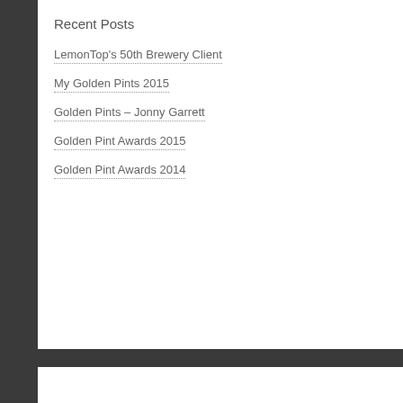Recent Posts
LemonTop's 50th Brewery Client
My Golden Pints 2015
Golden Pints – Jonny Garrett
Golden Pint Awards 2015
Golden Pint Awards 2014
[Figure (other): Empty white advertisement/widget box]
Beer Tags